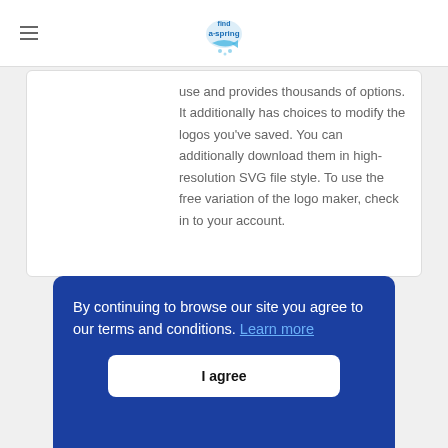[Figure (logo): Find a Spring website logo with fish and spring water graphic in blue tones]
use and provides thousands of options. It additionally has choices to modify the logos you've saved. You can additionally download them in high-resolution SVG file style. To use the free variation of the logo maker, check in to your account.
By continuing to browse our site you agree to our terms and conditions. Learn more
I agree